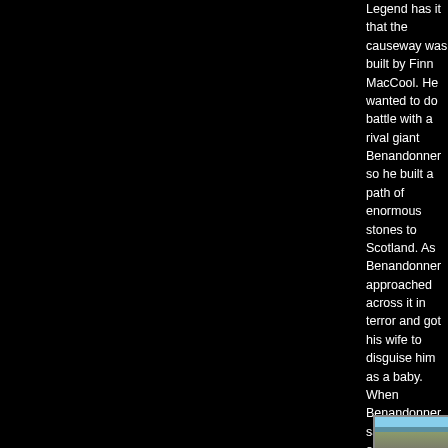Legend has it that the causeway was built by Finn MacCool. He wanted to do battle with a rival giant Benandonner so he built a path of enormous stones to Scotland. As Benandonner approached across it in terror and got his wife to disguise him as a baby. When Benandonner saw the size of the baby, he assumed it must be gigantic and fled back to Scotland, ripping up the causeway behind him.
[Figure (photo): A person standing on rocky terrain at the Giant's Causeway, Northern Ireland. Blue sky and ocean visible in the background. The person is wearing sunglasses, a vest over a striped long-sleeve shirt, and jeans.]